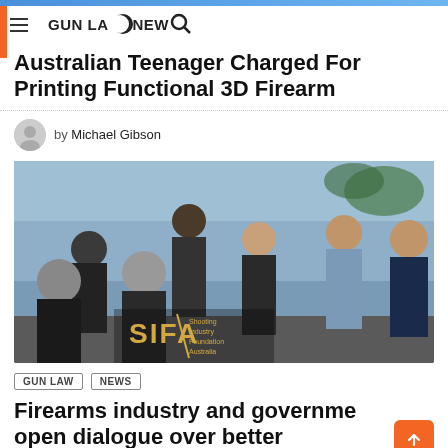GUN LAW NEWS
Australian Teenager Charged For Printing Functional 3D Firearm
by Michael Gibson
[Figure (photo): Group of seven people posing indoors in front of glass walls with plants. The SIFA (Shooting Industry Foundation Australia) logo is visible in the foreground.]
GUN LAW  NEWS
Firearms industry and government open dialogue over better